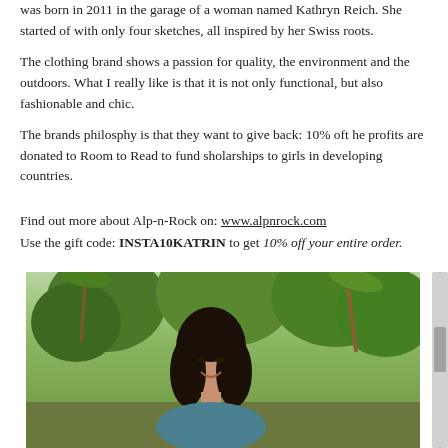was born in 2011 in the garage of a woman named Kathryn Reich. She started of with only four sketches, all inspired by her Swiss roots. The clothing brand shows a passion for quality, the environment and the outdoors. What I really like is that it is not only functional, but also fashionable and chic. The brands philosphy is that they want to give back: 10% oft he profits are donated to Room to Read to fund sholarships to girls in developing countries.
Find out more about Alp-n-Rock on: www.alpnrock.com
Use the gift code: INSTA10KATRIN to get 10% off your entire order.
[Figure (photo): A woman with long dark hair smiling, photographed outdoors with tropical palm trees and lush green foliage in the background.]